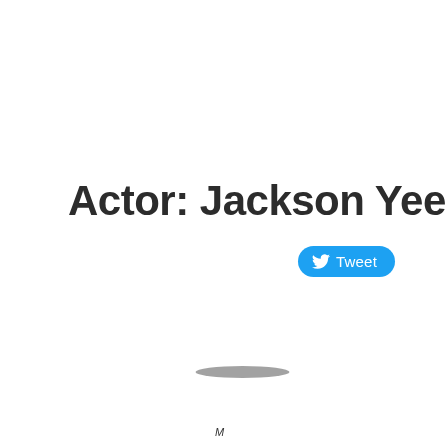Actor: Jackson Yee
[Figure (other): Twitter Tweet button with bird icon and 'Tweet' label in blue rounded rectangle]
[Figure (other): Dark elliptical shadow or object near bottom of page]
[Figure (other): Small symbol or watermark at bottom center of page]